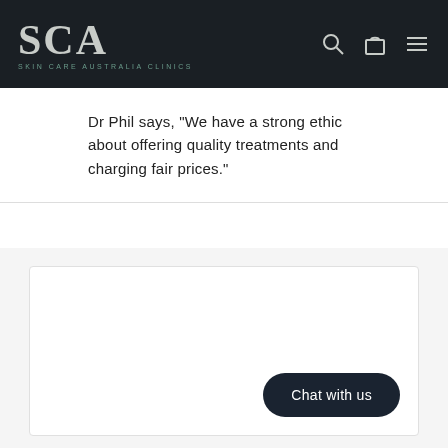SCA SKIN CARE AUSTRALIA CLINICS
Dr Phil says, "We have a strong ethic about offering quality treatments and charging fair prices."
[Figure (screenshot): A white card/panel with a dark rounded 'Chat with us' button in the lower right corner]